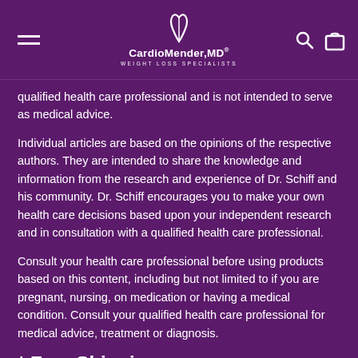CardioMender,MD® WEIGHT LOSS SPECIALISTS
qualified health care professional and is not intended to serve as medical advice.
Individual articles are based on the opinions of the respective authors. They are intended to share the knowledge and information from the research and experience of Dr. Schiff and his community. Dr. Schiff encourages you to make your own health care decisions based upon your independent research and in consultation with a qualified health care professional.
Consult your health care professional before using products based on this content, including but not limited to if you are pregnant, nursing, on medication or having a medical condition. Consult your qualified health care professional for medical advice, treatment or diagnosis.
* Free Shipping
Free shipping offered on orders over $100 and shipped in